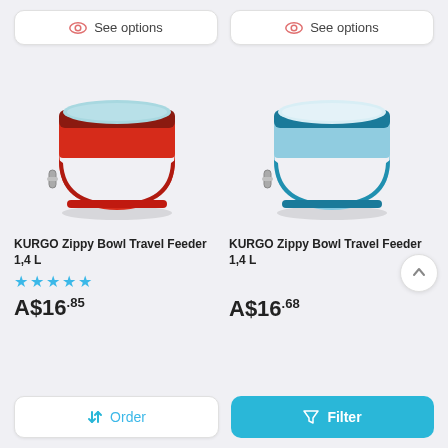See options
See options
[Figure (photo): Red KURGO Zippy Bowl Travel Feeder 1.4L collapsible fabric pet bowl with carabiner clip]
KURGO Zippy Bowl Travel Feeder 1,4 L
★★★★★
A$16.85
[Figure (photo): Blue/teal KURGO Zippy Bowl Travel Feeder 1.4L collapsible fabric pet bowl with carabiner clip]
KURGO Zippy Bowl Travel Feeder 1,4 L
A$16.68
↑↓ Order
Filter